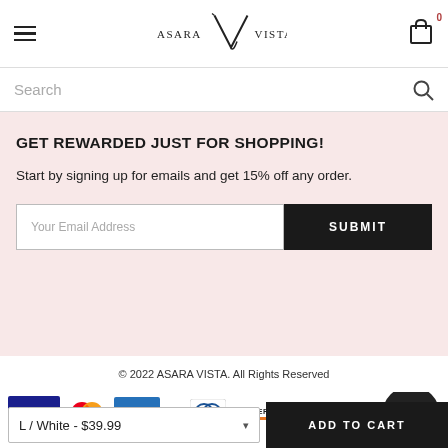ASARA VISTA — Navigation header with hamburger menu, logo, and cart icon showing 0
Search
GET REWARDED JUST FOR SHOPPING!
Start by signing up for emails and get 15% off any order.
Your Email Address
SUBMIT
© 2022 ASARA VISTA. All Rights Reserved
[Figure (other): Payment method logos: VISA, Mastercard, AMEX, Apple Pay, Diners Club, DISCOVER, PayPal]
L / White - $39.99
ADD TO CART